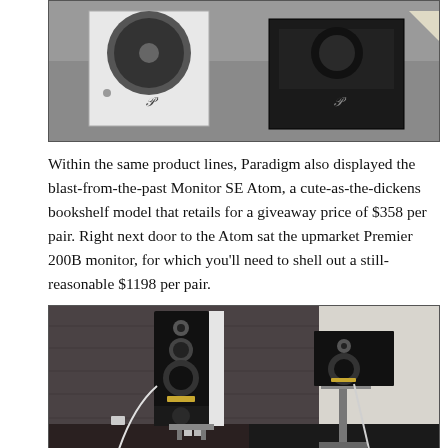[Figure (photo): Photo of two bookshelf speakers on a table: one white and one black, both with a stylized P logo. The white speaker on the left shows the driver cone, the black speaker on the right is a sealed enclosure.]
Within the same product lines, Paradigm also displayed the blast-from-the-past Monitor SE Atom, a cute-as-the-dickens bookshelf model that retails for a giveaway price of $358 per pair. Right next door to the Atom sat the upmarket Premier 200B monitor, for which you’ll need to shell out a still-reasonable $1198 per pair.
[Figure (photo): Photo of two Paradigm speakers in a room: a tall slim floor-standing speaker on the left (black and white with gold accents) on a stand, and a bookshelf speaker on the right mounted on a metal stand. Dark wood-panel wall visible in background.]